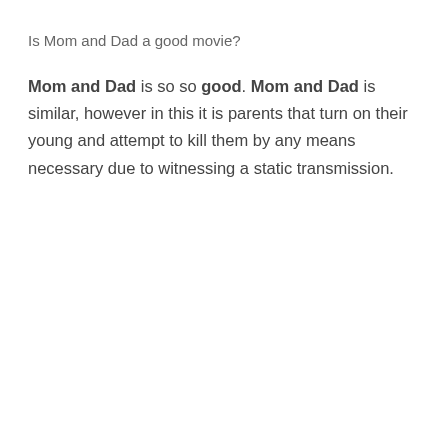Is Mom and Dad a good movie?
Mom and Dad is so so good. Mom and Dad is similar, however in this it is parents that turn on their young and attempt to kill them by any means necessary due to witnessing a static transmission.